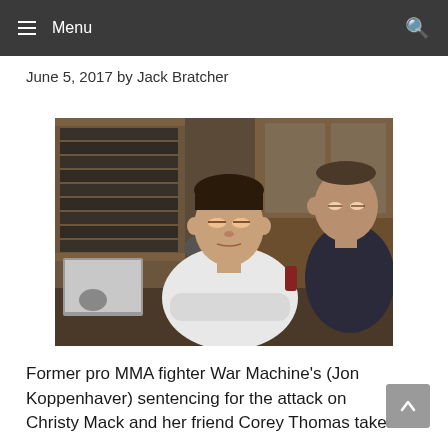Menu
June 5, 2017 by Jack Bratcher
[Figure (photo): Former pro MMA fighter War Machine (Jon Koppenhaver) sitting at a table in what appears to be a courtroom or legal setting, with a microphone in front of him and a laptop to his left. Another man is visible to his right. Bookshelves with legal volumes are in the background.]
Former pro MMA fighter War Machine's (Jon Koppenhaver) sentencing for the attack on Christy Mack and her friend Corey Thomas takes